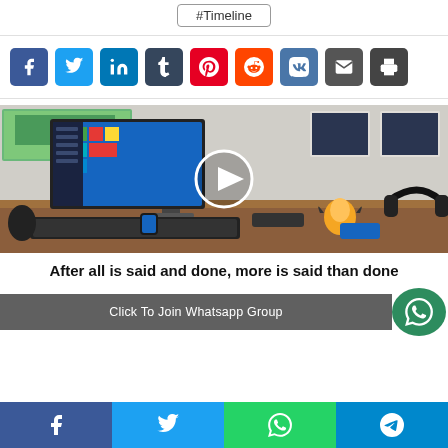#Timeline
[Figure (infographic): Row of social media share buttons: Facebook, Twitter, LinkedIn, Tumblr, Pinterest, Reddit, VK, Email, Print]
[Figure (photo): Desktop computer setup showing Windows 10 start menu on monitor, keyboard, mouse, headphones, Pokemon figurine, Apple Watch on wooden desk. Play button overlay in center.]
After all is said and done, more is said than done
Click To Join Whatsapp Group
[Figure (infographic): Bottom social share bar with Facebook, Twitter, WhatsApp, and Telegram icons]